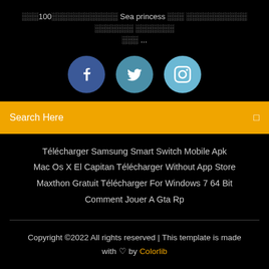░░░100░░░░░░░░░░░░ Sea princess ░░░ ░░░░░░░░░░░ ░░░░░░░ ░░░░░░░ ░░░ ...
[Figure (infographic): Three social media icon circles: Facebook (dark blue), Twitter (medium blue), Instagram (light blue)]
Search Here
Télécharger Samsung Smart Switch Mobile Apk
Mac Os X El Capitan Télécharger Without App Store
Maxthon Gratuit Télécharger For Windows 7 64 Bit
Comment Jouer A Gta Rp
Copyright ©2022 All rights reserved | This template is made with ♡ by Colorlib